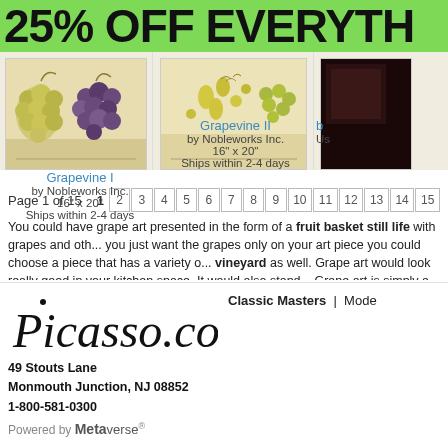25% OFF EVERYTH
[Figure (photo): Product image: Grapevine I artwork showing clusters of green and purple grapes on a light background]
Grapevine I
by Nobleworks Inc.
16" x 20"
Ships within 2-4 days
[Figure (photo): Product image: Grapevine II artwork showing pears and grapes on a light background]
Grapevine II
by Nobleworks Inc.
16" x 20"
Ships within 2-4 days
[Figure (photo): Partial third product image with dark background]
b...
Us...
Page 1 of 15  1 2 3 4 5 6 7 8 9 10 11 12 13 14 15
You could have grape art presented in the form of a fruit basket still life with grapes and oth... you just want the grapes only on your art piece you could choose a piece that has a variety o... vineyard as well. Grape art would look really good in your kitchen space. It would also stand... Grape art is simply a delightful kind of art. It is also a good choice for restaurant spaces and h...
[Figure (logo): Picasso.com handwritten script logo]
Classic Masters  |  Mode
49 Stouts Lane
Monmouth Junction, NJ 08852
1-800-581-0300
Powered by Metaverse®